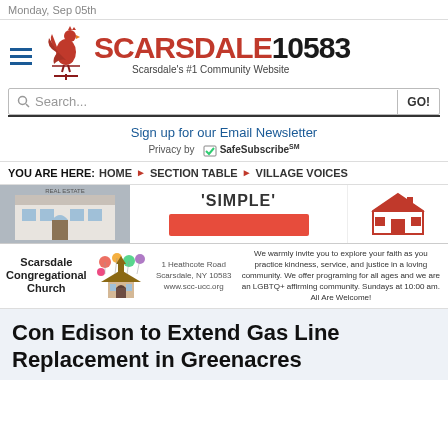Monday, Sep 05th
[Figure (logo): Scarsdale10583 website logo with rooster weathervane icon, red title text 'SCARSDALE' and black '10583', subtitle: Scarsdale's #1 Community Website]
Search...
Sign up for our Email Newsletter
Privacy by SafeSubscribeSM
YOU ARE HERE: HOME > SECTION TABLE > VILLAGE VOICES
[Figure (advertisement): Banner ad with text 'SIMPLE' and red button]
[Figure (advertisement): Five Corners Properties logo advertisement]
[Figure (advertisement): Scarsdale Congregational Church advertisement: 1 Heathcote Road, Scarsdale NY 10583, www.scc-ucc.org. We warmly invite you to explore your faith as you practice kindness, service, and justice in a loving community. We offer programing for all ages and we are an LGBTQ+ affirming community. Sundays at 10:00 am. All Are Welcome!]
Con Edison to Extend Gas Line Replacement in Greenacres